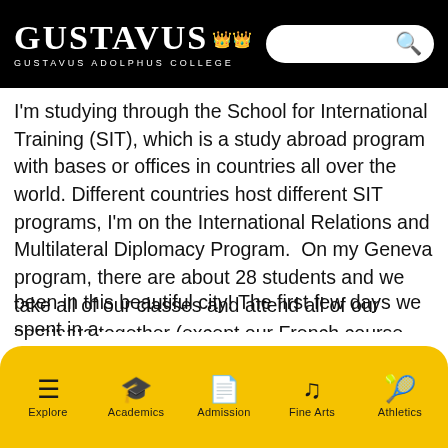GUSTAVUS ADOLPHUS COLLEGE
I'm studying through the School for International Training (SIT), which is a study abroad program with bases or offices in countries all over the world. Different countries host different SIT programs, I'm on the International Relations and Multilateral Diplomacy Program. On my Geneva program, there are about 28 students and we take all of our classes and attend all of our seminars together (except our French course, which is divided based on language proficiency [note: I don't speak a word of French]). The last month of our program is spent researching a topic of our choice (but related to the program) and writing a 30 page paper... an aspect of this
Explore | Academics | Admission | Fine Arts | Athletics
been in this beautiful city! The first few days we spent in a